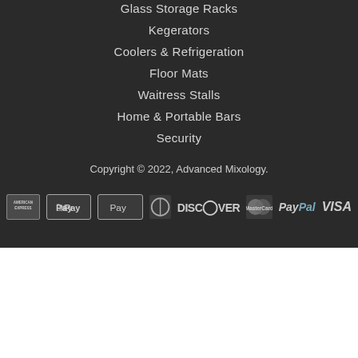Glass Storage Racks
Kegerators
Coolers & Refrigeration
Floor Mats
Waitress Stalls
Home & Portable Bars
Security
Copyright © 2022, Advanced Mixology.
[Figure (other): Payment method icons: American Express, Apple Pay, Diners Club, Discover, MasterCard, PayPal, VISA]
1
AN ELITE CAFEMEDIA LIFESTYLE PUBLISHER